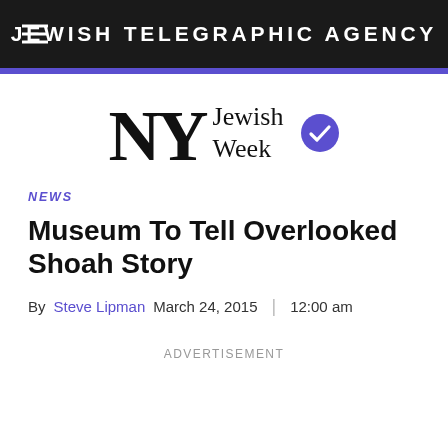JEWISH TELEGRAPHIC AGENCY
[Figure (logo): NY Jewish Week logo with blue verified checkmark circle]
NEWS
Museum To Tell Overlooked Shoah Story
By Steve Lipman March 24, 2015 | 12:00 am
ADVERTISEMENT